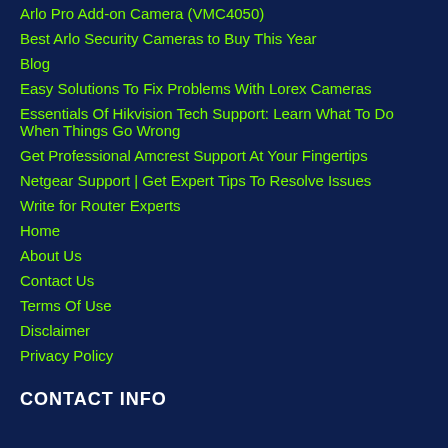Arlo Pro Add-on Camera (VMC4050)
Best Arlo Security Cameras to Buy This Year
Blog
Easy Solutions To Fix Problems With Lorex Cameras
Essentials Of Hikvision Tech Support: Learn What To Do When Things Go Wrong
Get Professional Amcrest Support At Your Fingertips
Netgear Support | Get Expert Tips To Resolve Issues
Write for Router Experts
Home
About Us
Contact Us
Terms Of Use
Disclaimer
Privacy Policy
CONTACT INFO